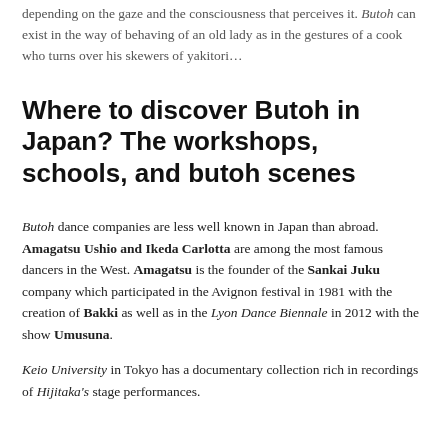depending on the gaze and the consciousness that perceives it. Butoh can exist in the way of behaving of an old lady as in the gestures of a cook who turns over his skewers of yakitori…
Where to discover Butoh in Japan? The workshops, schools, and butoh scenes
Butoh dance companies are less well known in Japan than abroad. Amagatsu Ushio and Ikeda Carlotta are among the most famous dancers in the West. Amagatsu is the founder of the Sankai Juku company which participated in the Avignon festival in 1981 with the creation of Bakki as well as in the Lyon Dance Biennale in 2012 with the show Umusuna.
Keio University in Tokyo has a documentary collection rich in recordings of Hijitaka's stage performances.